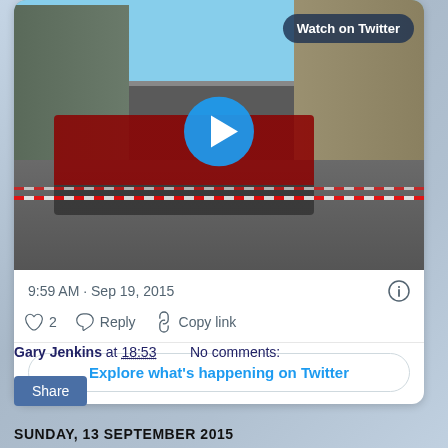[Figure (screenshot): Embedded tweet card showing a video thumbnail of a military band in red uniforms playing on a street, with a play button overlay and 'Watch on Twitter' badge. Tweet timestamp: 9:59 AM · Sep 19, 2015. Actions: heart/like with count 2, Reply, Copy link. Button: Explore what's happening on Twitter.]
Gary Jenkins at 18:53    No comments:
Share
SUNDAY, 13 SEPTEMBER 2015